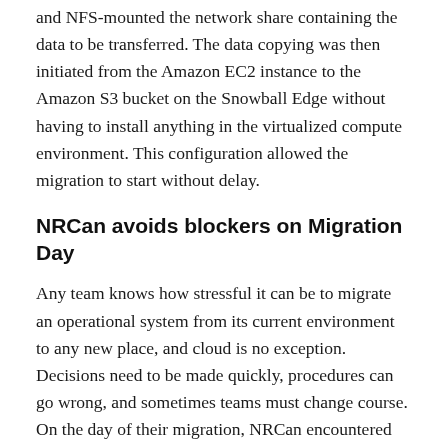and NFS-mounted the network share containing the data to be transferred. The data copying was then initiated from the Amazon EC2 instance to the Amazon S3 bucket on the Snowball Edge without having to install anything in the virtualized compute environment. This configuration allowed the migration to start without delay.
NRCan avoids blockers on Migration Day
Any team knows how stressful it can be to migrate an operational system from its current environment to any new place, and cloud is no exception. Decisions need to be made quickly, procedures can go wrong, and sometimes teams must change course. On the day of their migration, NRCan encountered an issue: an Amazon EC2 node had only been provisioned with 8GB of ram instead of the desired 16GB and the application was choking as a result. But in only a couple of minutes and with a few clicks in the AWS console, the node was scaled appropriately and the migration continued smoothly. An issue that might have taken a year to resolve in their old on-premise environment became a one-minute fix on the day of NRCan's migration using AWS, which helped NRCan finish their